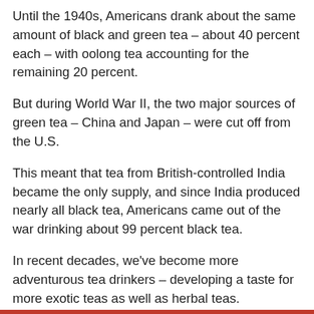Until the 1940s, Americans drank about the same amount of black and green tea – about 40 percent each – with oolong tea accounting for the remaining 20 percent.
But during World War II, the two major sources of green tea – China and Japan – were cut off from the U.S.
This meant that tea from British-controlled India became the only supply, and since India produced nearly all black tea, Americans came out of the war drinking about 99 percent black tea.
In recent decades, we've become more adventurous tea drinkers – developing a taste for more exotic teas as well as herbal teas.
What is better on a spring morning than a cup of tea? Or a rainy summer evening, a chilly fall day or a snowy winter dawn, for that matter?